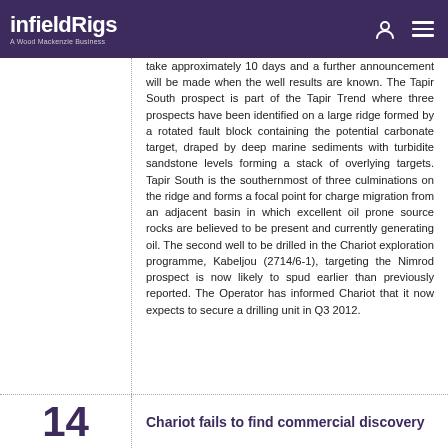infieldRigs - A Wood Mackenzie Business
take approximately 10 days and a further announcement will be made when the well results are known. The Tapir South prospect is part of the Tapir Trend where three prospects have been identified on a large ridge formed by a rotated fault block containing the potential carbonate target, draped by deep marine sediments with turbidite sandstone levels forming a stack of overlying targets. Tapir South is the southernmost of three culminations on the ridge and forms a focal point for charge migration from an adjacent basin in which excellent oil prone source rocks are believed to be present and currently generating oil. The second well to be drilled in the Chariot exploration programme, Kabeljou (2714/6-1), targeting the Nimrod prospect is now likely to spud earlier than previously reported. The Operator has informed Chariot that it now expects to secure a drilling unit in Q3 2012.
Chariot fails to find commercial discovery